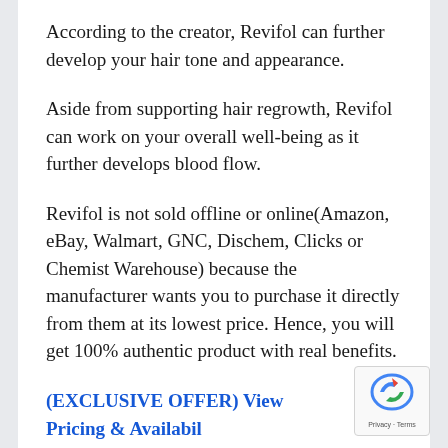According to the creator, Revifol can further develop your hair tone and appearance.
Aside from supporting hair regrowth, Revifol can work on your overall well-being as it further develops blood flow.
Revifol is not sold offline or online(Amazon, eBay, Walmart, GNC, Dischem, Clicks or Chemist Warehouse) because the manufacturer wants you to purchase it directly from them at its lowest price. Hence, you will get 100% authentic product with real benefits.
(EXCLUSIVE OFFER) View Pricing & Availability of Revifol Supplement!